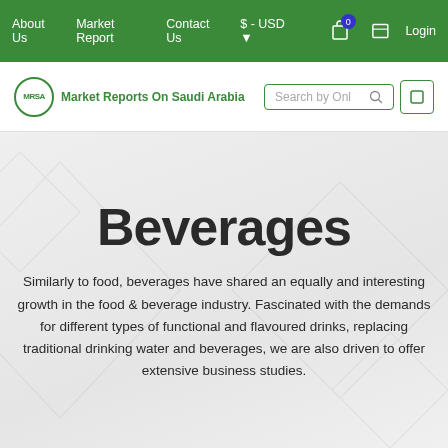About Us  Market Report  Contact Us  $ - USD  0  Login
[Figure (logo): Market Reports On Saudi Arabia logo with MRSA circular emblem and search bar]
Beverages
Similarly to food, beverages have shared an equally and interesting growth in the food & beverage industry. Fascinated with the demands for different types of functional and flavoured drinks, replacing traditional drinking water and beverages, we are also driven to offer extensive business studies.